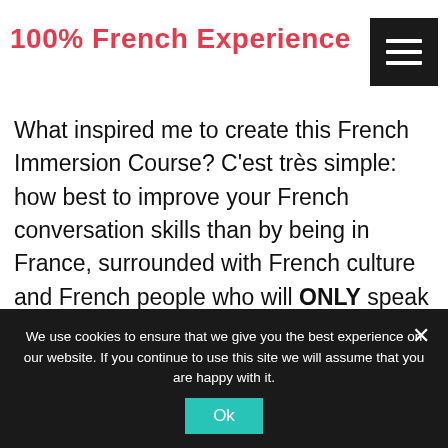100% French Experience
What inspired me to create this French Immersion Course? C'est très simple: how best to improve your French conversation skills than by being in France, surrounded with French culture and French people who will ONLY speak French to you? Yet so many times I have heard visitors express
We use cookies to ensure that we give you the best experience on our website. If you continue to use this site we will assume that you are happy with it.